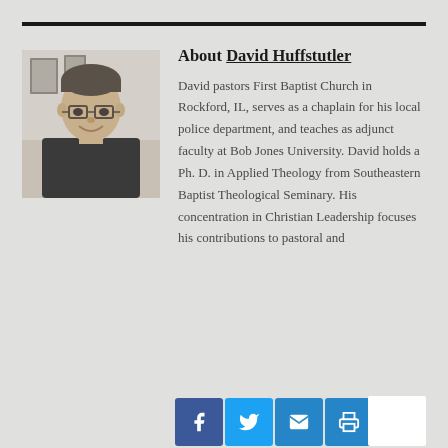[Figure (photo): Headshot photo of David Huffstutler, a man with glasses and short hair, smiling, wearing a dark jacket, seated in an office environment with framed items on the wall behind him.]
About David Huffstutler
David pastors First Baptist Church in Rockford, IL, serves as a chaplain for his local police department, and teaches as adjunct faculty at Bob Jones University. David holds a Ph. D. in Applied Theology from Southeastern Baptist Theological Seminary. His concentration in Christian Leadership focuses his contributions to pastoral and